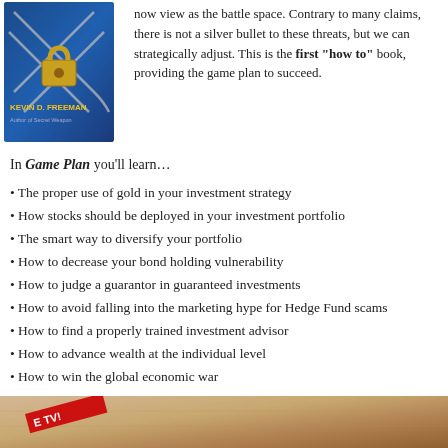[Figure (photo): Book cover of 'Game Plan' by Kevin D. Freeman, showing chains and a padlock over a blue background]
now view as the battle space. Contrary to many claims, there is not a silver bullet to these threats, but we can strategically adjust. This is the first "how to" book, providing the game plan to succeed.
In Game Plan you'll learn…
The proper use of gold in your investment strategy
How stocks should be deployed in your investment portfolio
The smart way to diversify your portfolio
How to decrease your bond holding vulnerability
How to judge a guarantor in guaranteed investments
How to avoid falling into the marketing hype for Hedge Fund scams
How to find a properly trained investment advisor
How to advance wealth at the individual level
How to win the global economic war
Check out Kevin's WEEKLY television program now on BLAZETV.
[Figure (photo): Bottom partial image showing currency/money with a red diagonal banner reading 'E TV!']